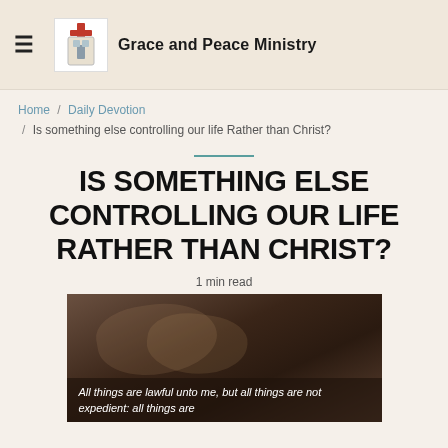Grace and Peace Ministry
Home / Daily Devotion / Is something else controlling our life Rather than Christ?
IS SOMETHING ELSE CONTROLLING OUR LIFE RATHER THAN CHRIST?
1 min read
[Figure (photo): Dark moody photo of hands, possibly depicting washing or anointing, with overlay text: 'All things are lawful unto me, but all things are not expedient: all things are']